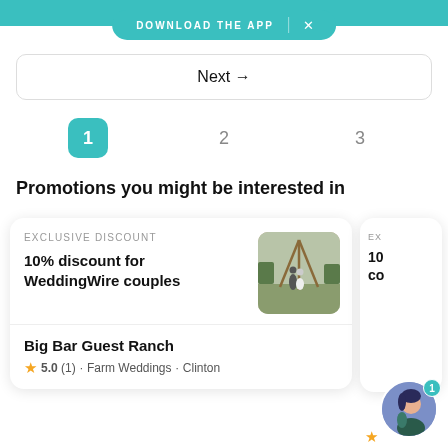[Figure (screenshot): Teal app download banner at top with 'DOWNLOAD THE APP' text and X close button]
Next →
1
2
3
Promotions you might be interested in
EXCLUSIVE DISCOUNT
10% discount for WeddingWire couples
[Figure (photo): Photo of a couple at an outdoor wedding venue with teepee structure]
Big Bar Guest Ranch
5.0 (1) · Farm Weddings · Clinton
[Figure (screenshot): Partially visible second promotion card on the right]
[Figure (illustration): Chat avatar circle with illustrated person and notification badge showing 1]